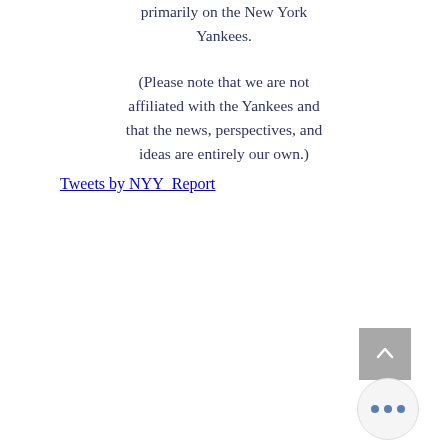primarily on the New York Yankees.
(Please note that we are not affiliated with the Yankees and that the news, perspectives, and ideas are entirely our own.)
Tweets by NYY_Report